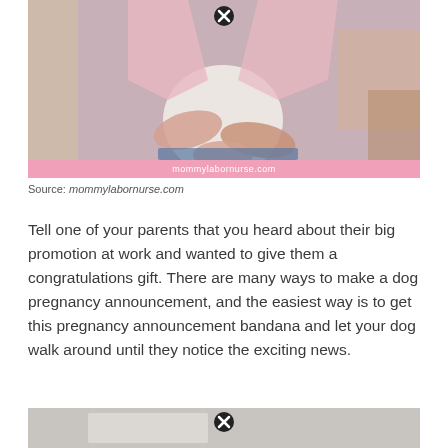[Figure (photo): A pregnant woman's belly being held by two pairs of hands. Below the photo is a pink banner with the text 'mommylabornurse.com'. There is a close/X button at the top center of the image.]
Source: mommylabornurse.com
Tell one of your parents that you heard about their big promotion at work and wanted to give them a congratulations gift. There are many ways to make a dog pregnancy announcement, and the easiest way is to get this pregnancy announcement bandana and let your dog walk around until they notice the exciting news.
[Figure (photo): Bottom of another photo partially visible, with a close/X button at the top center.]